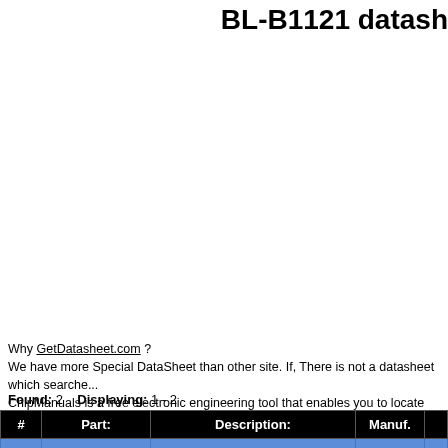BL-B1121 datash
Why GetDatasheet.com ? We have more Special DataSheet than other site. If, There is not a datasheet which searche... ChipManuals is a free electronic engineering tool that enables you to locate product datashe... worldwide.
Found: 2    Displaying: 1 - 2
| # | Part: | Description: | Manuf. |
| --- | --- | --- | --- |
|  |  |  |  |